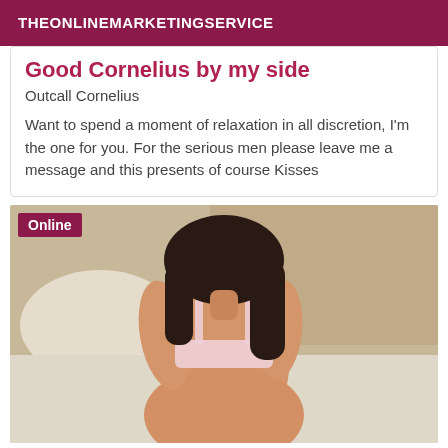THEONLINEMARKETINGSERVICE
Good Cornelius by my side
Outcall Cornelius
Want to spend a moment of relaxation in all discretion, I'm the one for you. For the serious men please leave me a message and this presents of course Kisses
[Figure (photo): Person viewed from behind wearing light pink lingerie, sitting on a bed with white pillows and bedding. Dark hair. An 'Online' badge appears in the top-left corner of the image.]